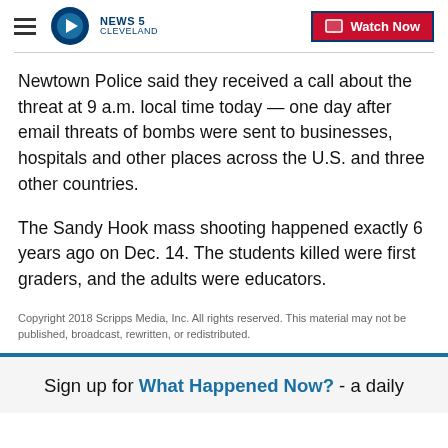NEWS 5 CLEVELAND — Watch Now
Newtown Police said they received a call about the threat at 9 a.m. local time today — one day after email threats of bombs were sent to businesses, hospitals and other places across the U.S. and three other countries.
The Sandy Hook mass shooting happened exactly 6 years ago on Dec. 14. The students killed were first graders, and the adults were educators.
Copyright 2018 Scripps Media, Inc. All rights reserved. This material may not be published, broadcast, rewritten, or redistributed.
Sign up for What Happened Now? - a daily